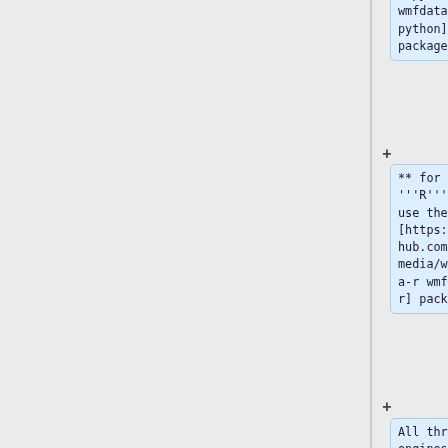a-python wmfdata-python] package
** for '''R''', use the [https://github.com/wikimedia/wmfdata-r wmfdata-r] package
All three engines also have command-line programs which you